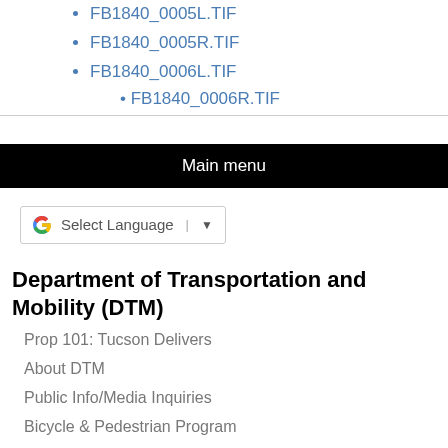FB1840_0005L.TIF
FB1840_0005R.TIF
FB1840_0006L.TIF
FB1840_0006R.TIF (clipped)
Main menu
Select Language
Department of Transportation and Mobility (DTM)
Prop 101: Tucson Delivers
About DTM
Public Info/Media Inquiries
Bicycle & Pedestrian Program
Traffic Engineering
Engineering